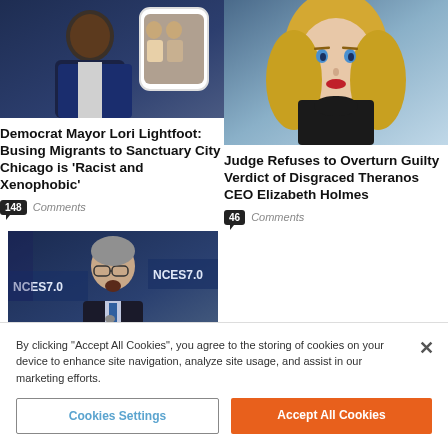[Figure (photo): Photo of Democrat Mayor Lori Lightfoot in a suit, with a smaller inset photo]
Democrat Mayor Lori Lightfoot: Busing Migrants to Sanctuary City Chicago is ‘Racist and Xenophobic’
148 Comments
[Figure (photo): Photo of Elizabeth Holmes with blonde hair and black turtleneck]
Judge Refuses to Overturn Guilty Verdict of Disgraced Theranos CEO Elizabeth Holmes
46 Comments
[Figure (photo): Photo of a man in a suit speaking at a podium with NCES 7.0 banner in background]
By clicking “Accept All Cookies”, you agree to the storing of cookies on your device to enhance site navigation, analyze site usage, and assist in our marketing efforts.
Cookies Settings
Accept All Cookies